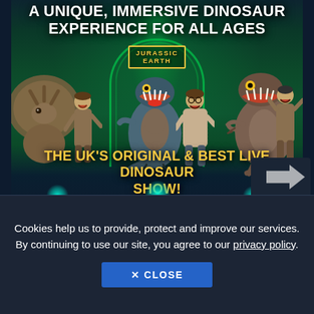[Figure (illustration): Jurassic Earth live dinosaur show promotional image. Dark teal/green background with glowing arch gateway labeled 'Jurassic Earth'. Multiple life-size puppet dinosaurs (triceratops frill left, velociraptor center-left, T-rex right) with human performers. White bold text at top reads 'A UNIQUE, IMMERSIVE DINOSAUR EXPERIENCE FOR ALL AGES'. Yellow bold text at bottom reads 'THE UK'S ORIGINAL & BEST LIVE DINOSAUR SHOW!'. Stage lights glow at bottom.]
Cookies help us to provide, protect and improve our services. By continuing to use our site, you agree to our privacy policy.